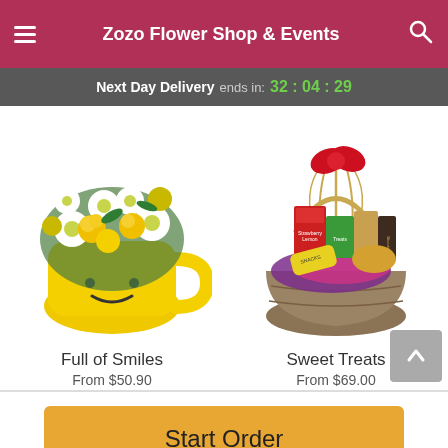Zozo Flower Shop & Events
Next Day Delivery ends in: 32 : 04 : 29
[Figure (photo): Yellow smiley face mug filled with yellow roses, white daisies, and green foliage flower arrangement]
[Figure (photo): Gift basket filled with various snacks, treats, and wrapped items with colorful tissue paper and raffia ribbon]
Full of Smiles
From $50.90
Sweet Treats
From $69.00
Start Order